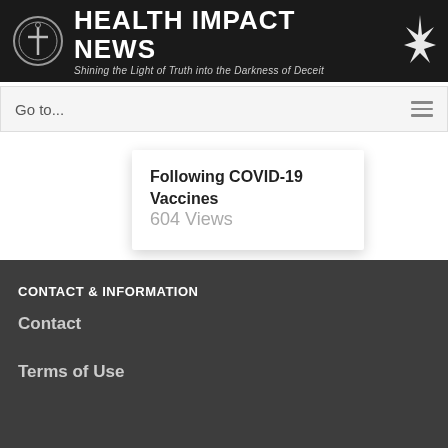HEALTH IMPACT NEWS — Shining the Light of Truth into the Darkness of Deceit
Go to...
Following COVID-19 Vaccines
604 Views
CONTACT & INFORMATION
Contact
Terms of Use